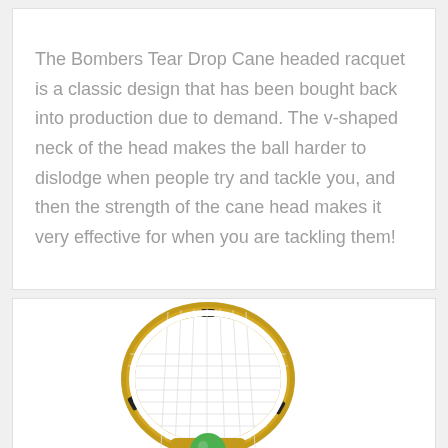The Bombers Tear Drop Cane headed racquet is a classic design that has been bought back into production due to demand. The v-shaped neck of the head makes the ball harder to dislodge when people try and tackle you, and then the strength of the cane head makes it very effective for when you are tackling them!
[Figure (photo): A tear drop cane headed lacrosse/racquet with a golden/brown oval head with white mesh netting and black accents, holding a green ball at the v-shaped neck junction, with a red and white striped handle, partially visible at the bottom of the page.]